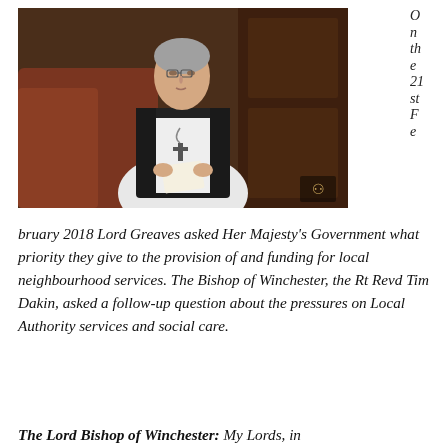[Figure (photo): A bishop in white and black vestments with a pectoral cross, seated in a red leather chair in what appears to be the House of Lords chamber, holding papers. A parliamentary portcullis logo is visible in the bottom right of the image.]
O
n
th
e
21
st
F
e
bruary 2018 Lord Greaves asked Her Majesty's Government what priority they give to the provision of and funding for local neighbourhood services. The Bishop of Winchester, the Rt Revd Tim Dakin, asked a follow-up question about the pressures on Local Authority services and social care.
The Lord Bishop of Winchester: My Lords, in